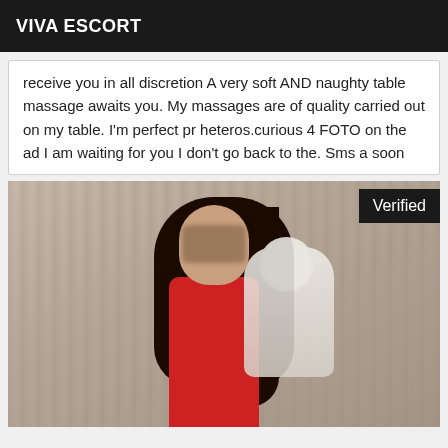VIVA ESCORT
receive you in all discretion A very soft AND naughty table massage awaits you. My massages are of quality carried out on my table. I'm perfect pr heteros.curious 4 FOTO on the ad I am waiting for you I don't go back to the. Sms a soon
[Figure (photo): Photo of a dark-haired woman in a red top holding white flowers, face obscured, with a 'Verified' badge in the top right corner]